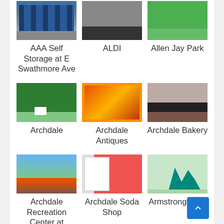[Figure (photo): Photo of AAA Self Storage building with blue doors]
AAA Self Storage at E Swathmore Ave
[Figure (photo): Photo of ALDI store exterior]
ALDI
[Figure (photo): Photo of Allen Jay Park green lawn]
Allen Jay Park
[Figure (photo): Photo of Archdale area with trees]
Archdale
[Figure (photo): Photo of Archdale Antiques colorful storefront]
Archdale Antiques
[Figure (photo): Photo of Archdale Bakery brick storefront with black awning]
Archdale Bakery
[Figure (photo): Photo of Archdale Recreation Center at Creekside Park with orange tree]
Archdale Recreation Center at Creekside Park
[Figure (photo): Photo of Archdale Soda Shop signage]
Archdale Soda Shop
[Figure (photo): Photo of Armstrong Park playground equipment]
Armstrong Park